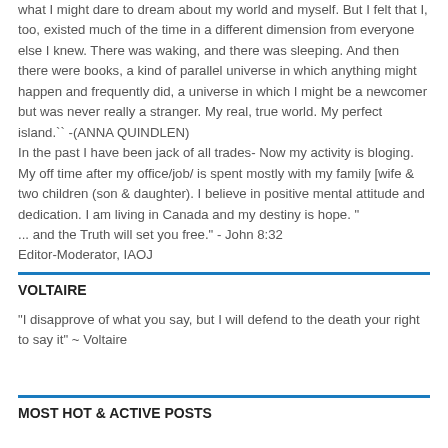what I might dare to dream about my world and myself. But I felt that I, too, existed much of the time in a different dimension from everyone else I knew. There was waking, and there was sleeping. And then there were books, a kind of parallel universe in which anything might happen and frequently did, a universe in which I might be a newcomer but was never really a stranger. My real, true world. My perfect island.`` -(ANNA QUINDLEN)
In the past I have been jack of all trades- Now my activity is bloging. My off time after my office/job/ is spent mostly with my family [wife & two children (son & daughter). I believe in positive mental attitude and dedication. I am living in Canada and my destiny is hope. "
... and the Truth will set you free." - John 8:32
Editor-Moderator, IAOJ
VOLTAIRE
"I disapprove of what you say, but I will defend to the death your right to say it" ~ Voltaire
MOST HOT & ACTIVE POSTS